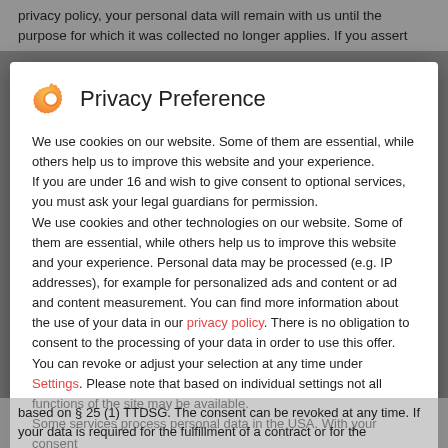privacy policy, your personal data will remain with us until the purpose for which it was collected no longer applies. If you assert
Privacy Preference
We use cookies on our website. Some of them are essential, while others help us to improve this website and your experience.
If you are under 16 and wish to give consent to optional services, you must ask your legal guardians for permission.
We use cookies and other technologies on our website. Some of them are essential, while others help us to improve this website and your experience. Personal data may be processed (e.g. IP addresses), for example for personalized ads and content or ad and content measurement. You can find more information about the use of your data in our privacy policy. There is no obligation to consent to the processing of your data in order to use this offer. You can revoke or adjust your selection at any time under Settings. Please note that based on individual settings not all functions of the site may be available.
Some services process personal data in the USA. With your consent
based on § 25 (1) TTDSG. The consent can be revoked at any time. If your data is required for the fulfillment of a contract or for the